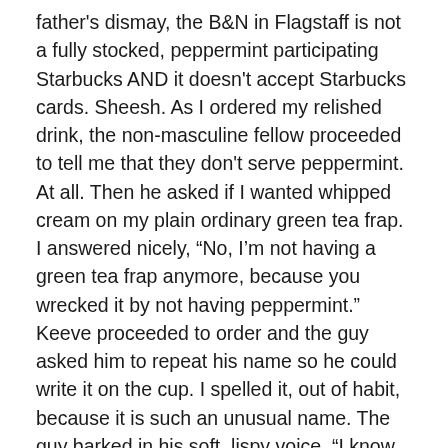father's dismay, the B&N in Flagstaff is not a fully stocked, peppermint participating Starbucks AND it doesn't accept Starbucks cards. Sheesh. As I ordered my relished drink, the non-masculine fellow proceeded to tell me that they don't serve peppermint. At all. Then he asked if I wanted whipped cream on my plain ordinary green tea frap. I answered nicely, “No, I’m not having a green tea frap anymore, because you wrecked it by not having peppermint.” Keeve proceeded to order and the guy asked him to repeat his name so he could write it on the cup. I spelled it, out of habit, because it is such an unusual name. The guy barked in his soft, lispy voice, “I know how to spell it!” I didn’t comment, but the line on the tip of my tongue was, “Wow! The first person in the world that knows how to spell KEEVE!” He misspelled Larisa’s name and just as I was leaving the counter, he added with